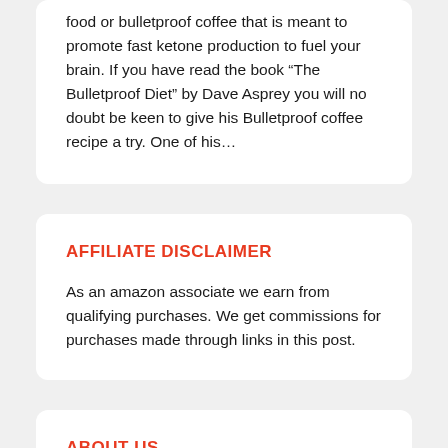food or bulletproof coffee that is meant to promote fast ketone production to fuel your brain. If you have read the book “The Bulletproof Diet” by Dave Asprey you will no doubt be keen to give his Bulletproof coffee recipe a try. One of his…
AFFILIATE DISCLAIMER
As an amazon associate we earn from qualifying purchases. We get commissions for purchases made through links in this post.
ABOUT US